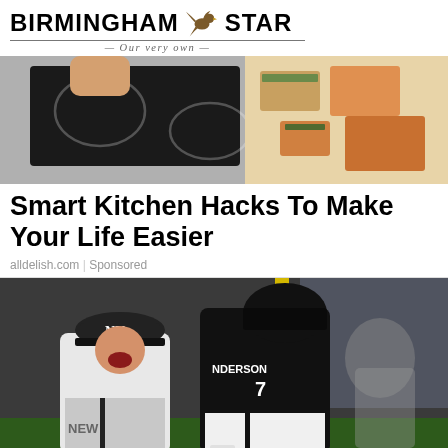BIRMINGHAM STAR — Our very own
[Figure (photo): Kitchen cooktop with sushi and food items]
Smart Kitchen Hacks To Make Your Life Easier
alldelish.com | Sponsored
[Figure (photo): Baseball players, New York Yankees player and Chicago White Sox player Tim Anderson #7 on field]